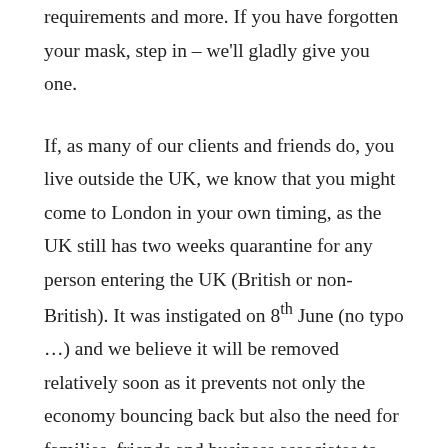requirements and more. If you have forgotten your mask, step in – we'll gladly give you one.
If, as many of our clients and friends do, you live outside the UK, we know that you might come to London in your own timing, as the UK still has two weeks quarantine for any person entering the UK (British or non-British). It was instigated on 8th June (no typo …) and we believe it will be removed relatively soon as it prevents not only the economy bouncing back but also the need for families, friends and business associates to get together again. During the lockdown, I have spent many hours a day in video calls, interacting